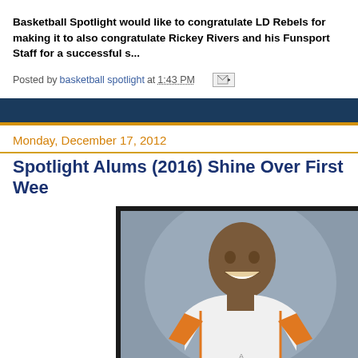Basketball Spotlight would like to congratulate LD Rebels for making it to... also congratulate Rickey Rivers and his Funsport Staff for a successful s...
Posted by basketball spotlight at 1:43 PM
Monday, December 17, 2012
Spotlight Alums (2016) Shine Over First Wee...
[Figure (photo): Young male basketball player in white and orange basketball jersey, smiling at camera against grey background]